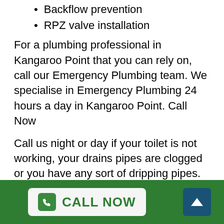Backflow prevention
RPZ valve installation
For a plumbing professional in Kangaroo Point that you can rely on, call our Emergency Plumbing team. We specialise in Emergency Plumbing 24 hours a day in Kangaroo Point. Call Now
Call us night or day if your toilet is not working, your drains pipes are clogged or you have any sort of dripping pipes. Our 24 hr plumbing service is ready to help you, particularly at the most troublesome times!
Everything You Need To Understand About Finding Local Plumbing In Kangaroo Point
Our professional local plumbing technicians in Kangaroo Point can assist with a range of pipes around your home in Kangaroo Point. A common situation
CALL NOW